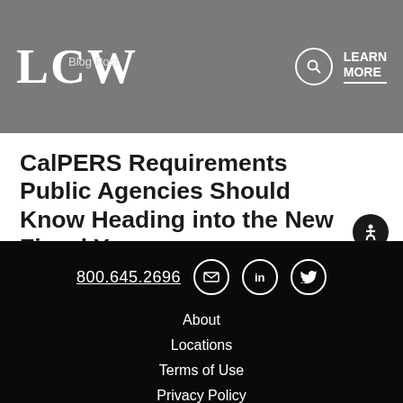LCW Blog Post
LEARN MORE
CalPERS Requirements Public Agencies Should Know Heading into the New Fiscal Year
California Public Agency Labor & Employment Blog
READ MORE
800.645.2696  About  Locations  Terms of Use  Privacy Policy